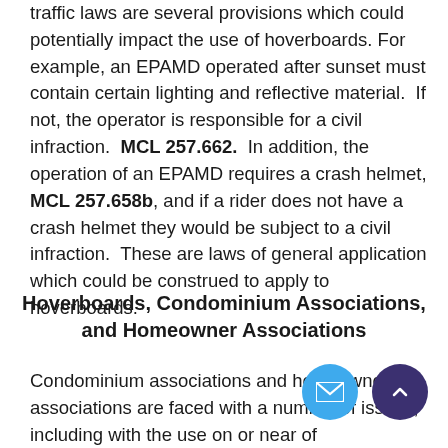traffic laws are several provisions which could potentially impact the use of hoverboards. For example, an EPAMD operated after sunset must contain certain lighting and reflective material.  If not, the operator is responsible for a civil infraction.  MCL 257.662.  In addition, the operation of an EPAMD requires a crash helmet, MCL 257.658b, and if a rider does not have a crash helmet they would be subject to a civil infraction.  These are laws of general application which could be construed to apply to hoverboards.
Hoverboards, Condominium Associations, and Homeowner Associations
Condominium associations and homeowner associations are faced with a number of issues, including with the use on or near of...